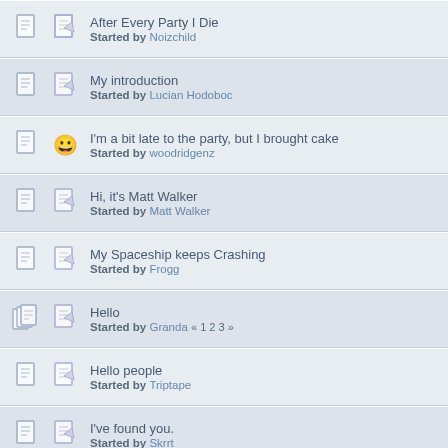After Every Party I Die
Started by Noizchild
My introduction
Started by Lucian Hodoboc
I'm a bit late to the party, but I brought cake
Started by woodridgenz
Hi, it's Matt Walker
Started by Matt Walker
My Spaceship keeps Crashing
Started by Frogg
Hello
Started by Granda « 1 2 3 »
Hello people
Started by Triptape
I've found you.
Started by Skrrt
Cake and vodka for all!
Started by Annmarie « 1 2 »